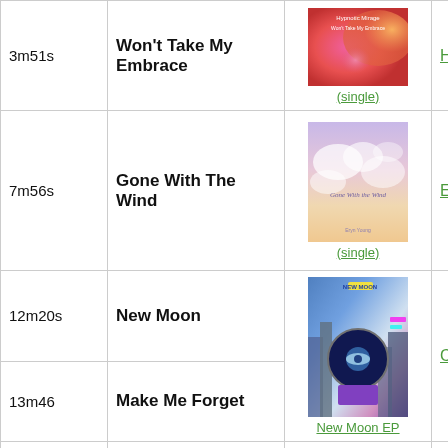| Time | Title | Album | Artist |
| --- | --- | --- | --- |
| 3m51s | Won't Take My Embrace | (single) – Hypnotic Mirage | Hypnotic Mirage |
| 7m56s | Gone With The Wind | (single) – Gone With the Wind | Eryn Young |
| 12m20s | New Moon | New Moon EP | Courtney Wolfe |
| 13m46 | Make Me Forget | New Moon EP | Courtney Wolfe |
| 16m30s | Spiderman |  | Keith M... and Andy |